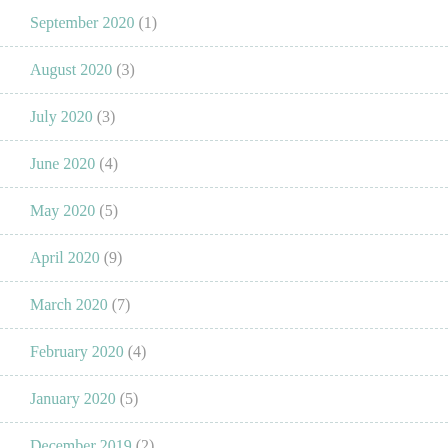September 2020 (1)
August 2020 (3)
July 2020 (3)
June 2020 (4)
May 2020 (5)
April 2020 (9)
March 2020 (7)
February 2020 (4)
January 2020 (5)
December 2019 (2)
November 2019 (3)